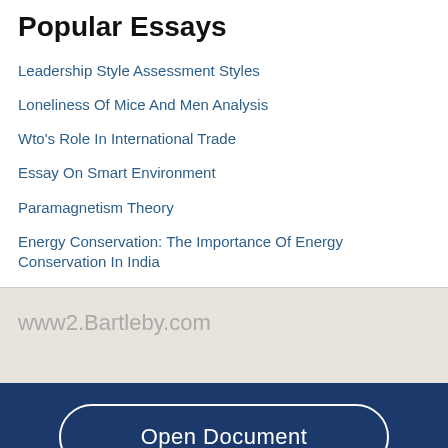Popular Essays
Leadership Style Assessment Styles
Loneliness Of Mice And Men Analysis
Wto's Role In International Trade
Essay On Smart Environment
Paramagnetism Theory
Energy Conservation: The Importance Of Energy Conservation In India
www2.Bartleby.com
Open Document